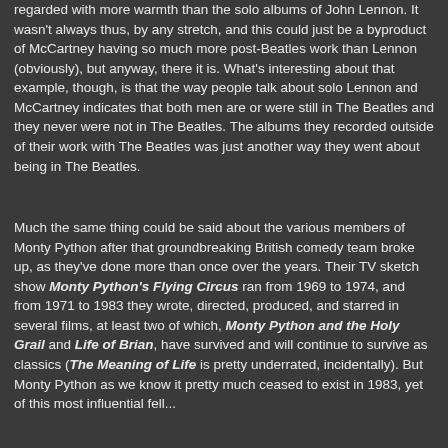regarded with more warmth than the solo albums of John Lennon. It wasn't always thus, by any stretch, and this could just be a byproduct of McCartney having so much more post-Beatles work than Lennon (obviously), but anyway, there it is. What's interesting about that example, though, is that the way people talk about solo Lennon and McCartney indicates that both men are or were still in The Beatles and they never were not in The Beatles. The albums they recorded outside of their work with The Beatles was just another way they went about being in The Beatles.
Much the same thing could be said about the various members of Monty Python after that groundbreaking British comedy team broke up, as they've done more than once over the years. Their TV sketch show Monty Python's Flying Circus ran from 1969 to 1974, and from 1971 to 1983 they wrote, directed, produced, and starred in several films, at least two of which, Monty Python and the Holy Grail and Life of Brian, have survived and will continue to survive as classics (The Meaning of Life is pretty underrated, incidentally). But Monty Python as we know it pretty much ceased to exist in 1983, yet of this most influential fell...